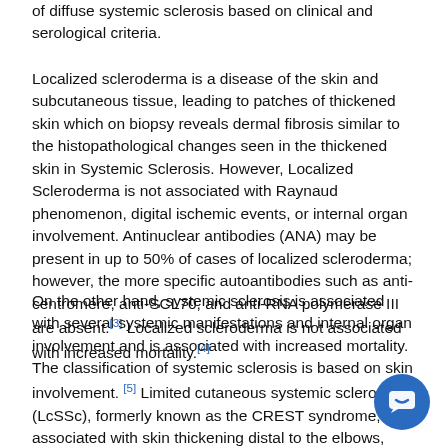of diffuse systemic sclerosis based on clinical and serological criteria.
Localized scleroderma is a disease of the skin and subcutaneous tissue, leading to patches of thickened skin which on biopsy reveals dermal fibrosis similar to the histopathological changes seen in the thickened skin in Systemic Sclerosis. However, Localized Scleroderma is not associated with Raynaud phenomenon, digital ischemic events, or internal organ involvement. Antinuclear antibodies (ANA) may be present in up to 50% of cases of localized scleroderma; however, the more specific autoantibodies such as anti-centromere, anti-SCL70, and anti-RNA polymerase III are absent.[3] Localized scleroderma is not associated with increased mortality.[4]
On the other hand, systemic sclerosis is associated with several systemic manifestations and internal organ involvement and is associated with increased mortality. The classification of systemic sclerosis is based on skin involvement. [5] Limited cutaneous systemic sclerosis (LcSSc), formerly known as the CREST syndrome, is associated with skin thickening distal to the elbows, distal